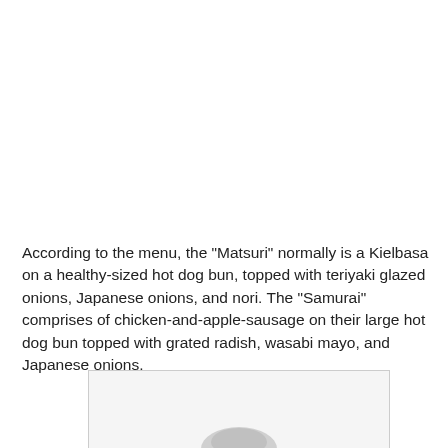According to the menu, the "Matsuri" normally is a Kielbasa on a healthy-sized hot dog bun, topped with teriyaki glazed onions, Japanese onions, and nori. The "Samurai" comprises of chicken-and-apple-sausage on their large hot dog bun topped with grated radish, wasabi mayo, and Japanese onions.
[Figure (photo): Partial image visible at bottom of page, appears to show a food item, mostly cropped]